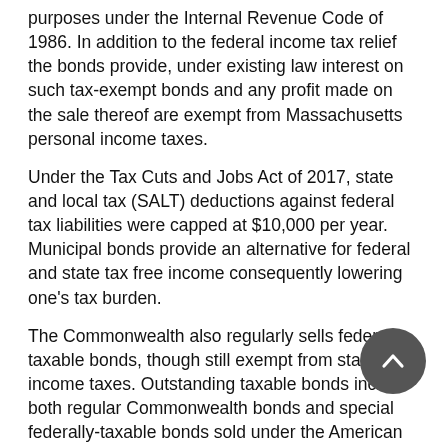purposes under the Internal Revenue Code of 1986. In addition to the federal income tax relief the bonds provide, under existing law interest on such tax-exempt bonds and any profit made on the sale thereof are exempt from Massachusetts personal income taxes.
Under the Tax Cuts and Jobs Act of 2017, state and local tax (SALT) deductions against federal tax liabilities were capped at $10,000 per year. Municipal bonds provide an alternative for federal and state tax free income consequently lowering one's tax burden.
The Commonwealth also regularly sells federally-taxable bonds, though still exempt from state income taxes. Outstanding taxable bonds include both regular Commonwealth bonds and special federally-taxable bonds sold under the American Recovery and Reinvestment Act, known as Build America Bonds (BABs) and Qualified School Construction Bonds (QSCBs).
Investors should check with their financial advisor or broker regarding the tax status of a bond and consult with their